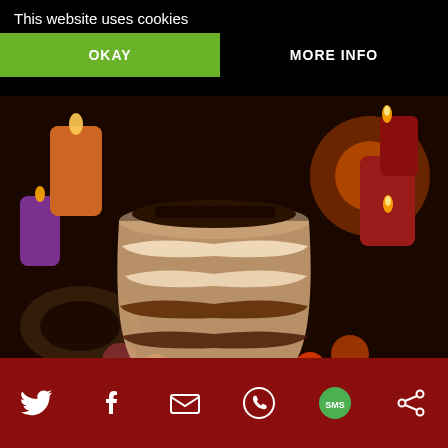This website uses cookies
OKAY
MORE INFO
[Figure (photo): A glass dessert cup filled with layers of tiramisu topped with chocolate shavings, surrounded by red and purple candles and Christmas ornaments on a dark background.]
[Figure (other): Social sharing icons: Twitter, Facebook, Email, WhatsApp, SMS, and another share icon on a dark red bar at the bottom.]